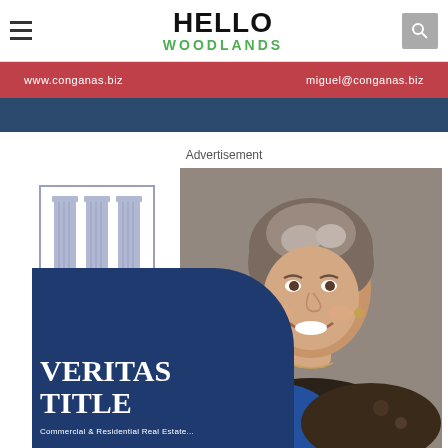HELLO WOODLANDS
www.conganas.biz | miguel@conganas.biz
Advertisement
[Figure (photo): Veritas Title advertisement showing logo with three columns and a smiling woman with short grey-brown hair over a navy blue background]
VERITAS TITLE